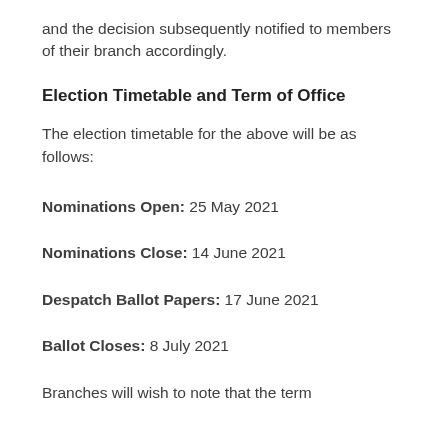and the decision subsequently notified to members of their branch accordingly.
Election Timetable and Term of Office
The election timetable for the above will be as follows:
Nominations Open: 25 May 2021
Nominations Close: 14 June 2021
Despatch Ballot Papers: 17 June 2021
Ballot Closes: 8 July 2021
Branches will wish to note that the term of office for the person appointed to the